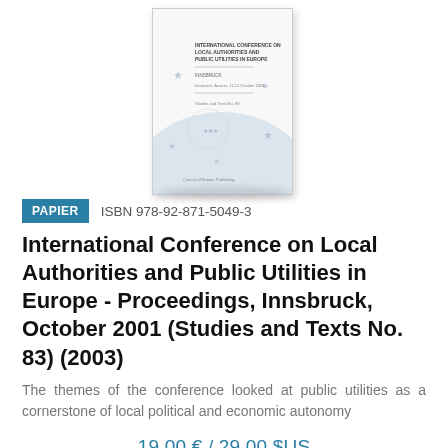[Figure (illustration): Book cover thumbnail of the International Conference on Local Authorities and Public Utilities in Europe proceedings, showing a Council of Europe styled cover with stars and a blue arc design.]
PAPIER    ISBN 978-92-871-5049-3
International Conference on Local Authorities and Public Utilities in Europe - Proceedings, Innsbruck, October 2001 (Studies and Texts No. 83) (2003)
The themes of the conference looked at public utilities as a cornerstone of local political and economic autonomy
19,00 € / 29.00 $US
AJOUTER AU PANIER